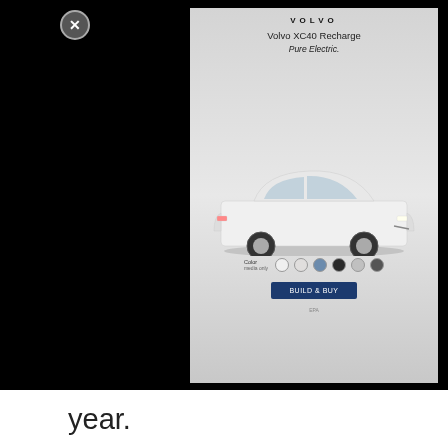[Figure (screenshot): Volvo XC40 Recharge advertisement with car image, color selector dots, and CTA button on a gray background, overlaid on a black background with a close button]
year.
You can grow this croton type all year-round in zones 11 and 12, and it's possible to keep it outside in the warmer seasons before bringing it in before the first frost hits. It makes a nice houseplant, and it can get up to five feet wide and six feet tall when you grow it outside.